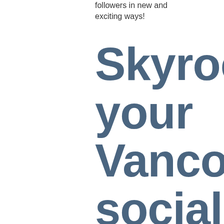followers in new and exciting ways!
Skyrocket your Vancouver social